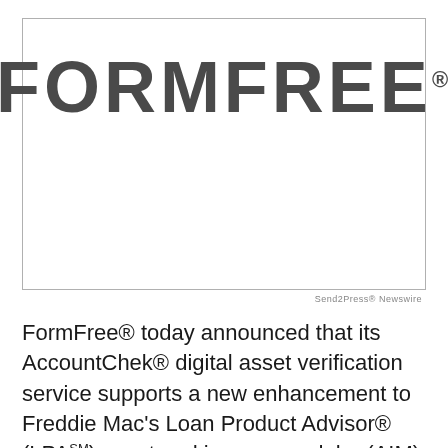[Figure (logo): FormFree logo — large bold sans-serif text 'FORMFREE' with registered trademark symbol, inside a rectangular border]
Send2Press® Newswire
FormFree® today announced that its AccountChek® digital asset verification service supports a new enhancement to Freddie Mac's Loan Product Advisor® (LPASM) asset and income modeler (AIM) solution that makes assessment of borrower employment easier, faster, less expensive and more fraud-